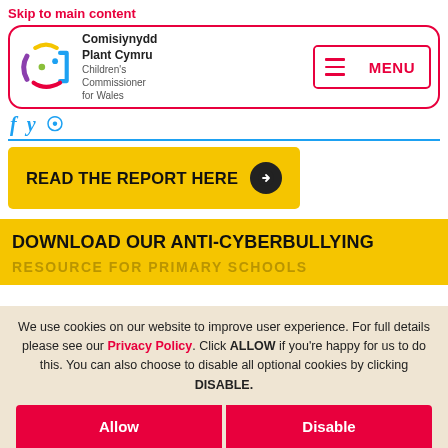Skip to main content
[Figure (logo): Comisiynydd Plant Cymru / Children's Commissioner for Wales logo with colorful circular face icon and MENU button]
[Figure (other): Social media icons strip (Twitter, Facebook, etc.) in blue]
READ THE REPORT HERE →
DOWNLOAD OUR ANTI-CYBERBULLYING
RESOURCE FOR PRIMARY SCHOOLS →
We use cookies on our website to improve user experience. For full details please see our Privacy Policy. Click ALLOW if you're happy for us to do this. You can also choose to disable all optional cookies by clicking DISABLE.
Allow
Disable